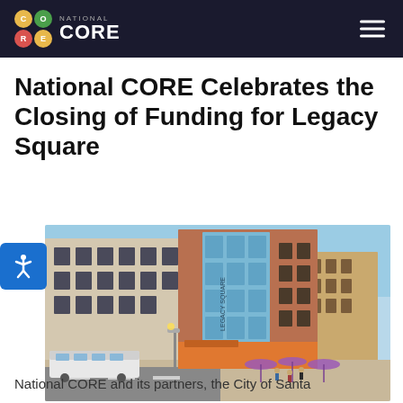NATIONAL CORE
National CORE Celebrates the Closing of Funding for Legacy Square
[Figure (illustration): Architectural rendering of Legacy Square building, a multi-story mixed-use development with brick and light blue facade, street-level retail, light rail tram in foreground, pedestrians and purple umbrellas on sidewalk]
National CORE and its partners, the City of Santa